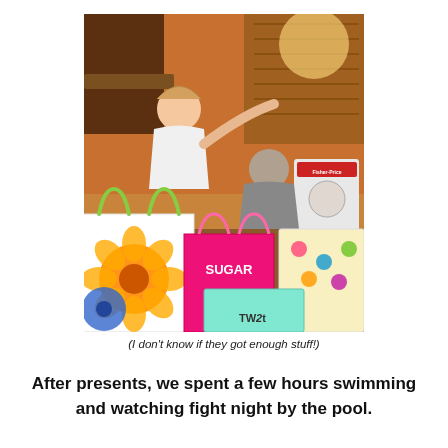[Figure (photo): Indoor photo of two people surrounded by colorful gift bags including a white bag with large flower print, pink bags with text 'SUGAR', and other gift bags and presents. People in background, warm orange lighting.]
(I don't know if they got enough stuff!)
After presents, we spent a few hours swimming and watching fight night by the pool.